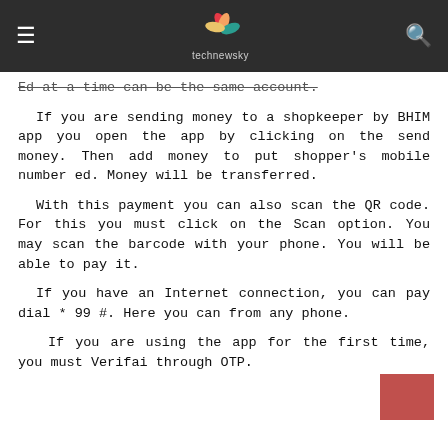technewsky
Ed at a time can be the same account.
If you are sending money to a shopkeeper by BHIM app you open the app by clicking on the send money. Then add money to put shopper's mobile number ed. Money will be transferred.
With this payment you can also scan the QR code. For this you must click on the Scan option. You may scan the barcode with your phone. You will be able to pay it.
If you have an Internet connection, you can pay dial * 99 #. Here you can from any phone.
If you are using the app for the first time, you must Verifai through OTP.